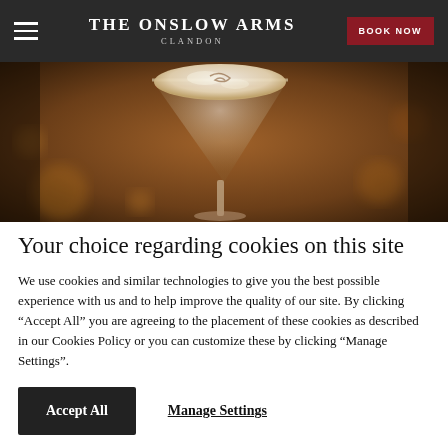THE ONSLOW ARMS CLANDON | BOOK NOW
[Figure (photo): Close-up photo of a cocktail in a martini glass with a foamy top, set on a table with warm bokeh background lighting]
Your choice regarding cookies on this site
We use cookies and similar technologies to give you the best possible experience with us and to help improve the quality of our site. By clicking “Accept All” you are agreeing to the placement of these cookies as described in our Cookies Policy or you can customize these by clicking “Manage Settings”.
Accept All | Manage Settings